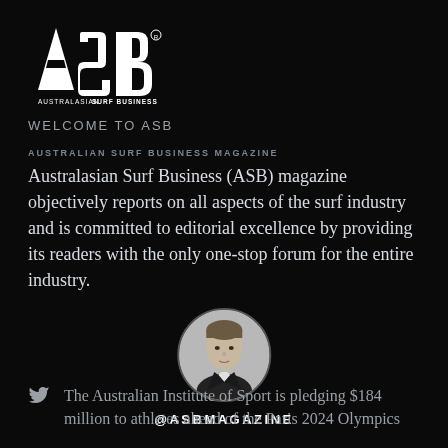[Figure (logo): ASB (Australasian Surf Business) logo — large white bold letters ASB with registered trademark, and smaller text AUSTRALASIAN SURF BUSINESS beneath]
WELCOME TO ASB
AUSTRALIAN SURF BUSINESS MAGAZINE
Australasian Surf Business (ASB) magazine objectively reports on all aspects of the surf industry and is committed to editorial excellence by providing its readers with the only one-stop forum for the entire industry.
[Figure (photo): Circular cropped black and white portrait photo of a man in a dark jacket]
@ASBMAGAZINE
The Australian Institute of Sport is pledging $184 million to athletes ahead of the Paris 2024 Olympics